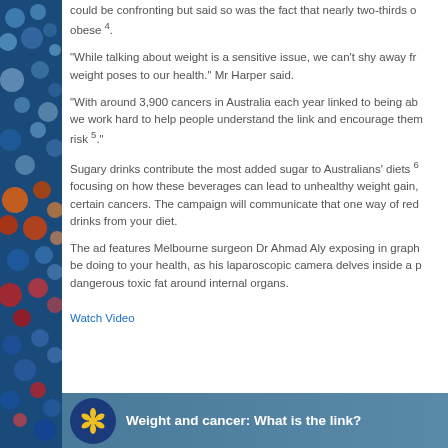could be confronting but said so was the fact that nearly two-thirds of obese 4.
"While talking about weight is a sensitive issue, we can't shy away from weight poses to our health." Mr Harper said.
"With around 3,900 cancers in Australia each year linked to being ab we work hard to help people understand the link and encourage them risk 5."
Sugary drinks contribute the most added sugar to Australians' diets 6 focusing on how these beverages can lead to unhealthy weight gain, certain cancers. The campaign will communicate that one way of red drinks from your diet.
The ad features Melbourne surgeon Dr Ahmad Aly exposing in graph be doing to your health, as his laparoscopic camera delves inside a p dangerous toxic fat around internal organs.
Watch Video
[Figure (screenshot): Video banner with Cancer Council logo and text 'Weight and cancer: What is the link?']